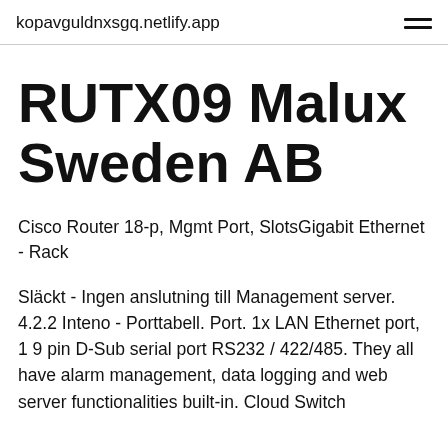kopavguldnxsgq.netlify.app
RUTX09 Malux Sweden AB
Cisco Router 18-p, Mgmt Port, SlotsGigabit Ethernet - Rack
Släckt - Ingen anslutning till Management server. 4.2.2 Inteno - Porttabell. Port. 1x LAN Ethernet port, 1 9 pin D-Sub serial port RS232 / 422/485. They all have alarm management, data logging and web server functionalities built-in. Cloud Switch